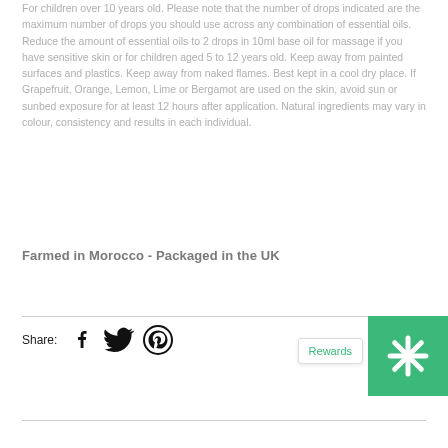For children over 10 years old. Please note that the number of drops indicated are the maximum number of drops you should use across any combination of essential oils. Reduce the amount of essential oils to 2 drops in 10ml base oil for massage if you have sensitive skin or for children aged 5 to 12 years old. Keep away from painted surfaces and plastics. Keep away from naked flames. Best kept in a cool dry place. If Grapefruit, Orange, Lemon, Lime or Bergamot are used on the skin, avoid sun or sunbed exposure for at least 12 hours after application. Natural ingredients may vary in colour, consistency and results in each individual.
Farmed in Morocco - Packaged in the UK
Share:
[Figure (other): Social media share icons: Facebook, Twitter, Pinterest]
Rewards
[Figure (logo): Green rewards button with asterisk/snowflake icon]